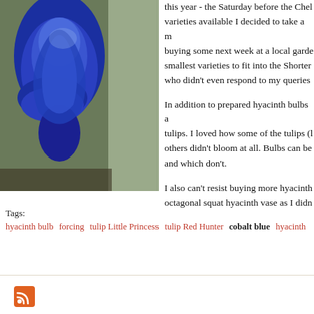[Figure (photo): A cobalt blue glass hyacinth vase photographed against a window with outdoor greenery visible in background]
this year - the Saturday before the Chel varieties available I decided to take a m buying some next week at a local garde smallest varieties to fit into the Shorter who didn't even respond to my queries
In addition to prepared hyacinth bulbs a tulips. I loved how some of the tulips (l others didn't bloom at all. Bulbs can be and which don't.
I also can't resist buying more hyacinth octagonal squat hyacinth vase as I didn
Tags:
hyacinth bulb   forcing   tulip Little Princess   tulip Red Hunter   cobalt blue   hyacinth